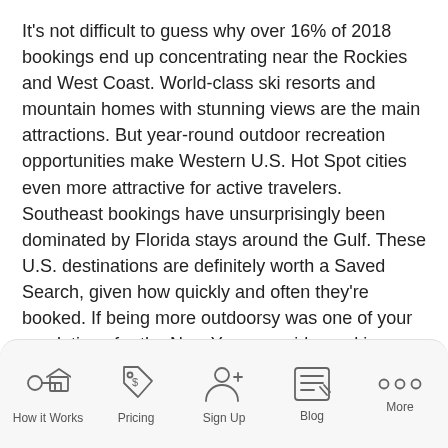It's not difficult to guess why over 16% of 2018 bookings end up concentrating near the Rockies and West Coast. World-class ski resorts and mountain homes with stunning views are the main attractions. But year-round outdoor recreation opportunities make Western U.S. Hot Spot cities even more attractive for active travelers. Southeast bookings have unsurprisingly been dominated by Florida stays around the Gulf. These U.S. destinations are definitely worth a Saved Search, given how quickly and often they're booked. If being more outdoorsy was one of your resolutions for the New Year, consider making a trip out West.
Click here to see available properties in the United States.
How it Works | Pricing | Sign Up | Blog | More